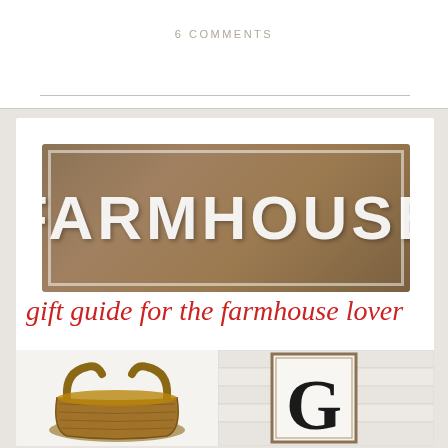6 COMMENTS
[Figure (photo): Farmhouse gift guide collage image showing a rustic wooden FARMHOUSE sign, script text reading 'gift guide for the farmhouse lover', a woven basket, and a monogram letter G frame]
gift guide for the farmhouse lover